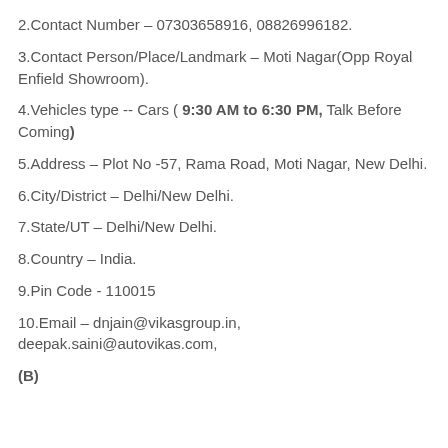2.Contact Number – 07303658916, 08826996182.
3.Contact Person/Place/Landmark – Moti Nagar(Opp Royal Enfield Showroom).
4.Vehicles type -- Cars ( 9:30 AM to 6:30 PM, Talk Before Coming)
5.Address – Plot No -57, Rama Road, Moti Nagar, New Delhi.
6.City/District – Delhi/New Delhi.
7.State/UT – Delhi/New Delhi.
8.Country – India.
9.Pin Code - 110015
10.Email – dnjain@vikasgroup.in, deepak.saini@autovikas.com,
(B)